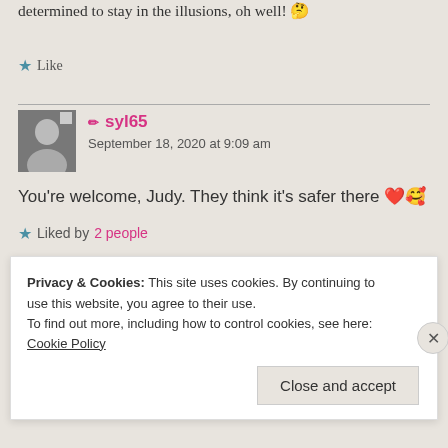determined to stay in the illusions, oh well! 🤔
★ Like
✏ syl65
September 18, 2020 at 9:09 am
You're welcome, Judy. They think it's safer there ❤️🥰
★ Liked by 2 people
Privacy & Cookies: This site uses cookies. By continuing to use this website, you agree to their use.
To find out more, including how to control cookies, see here: Cookie Policy
Close and accept